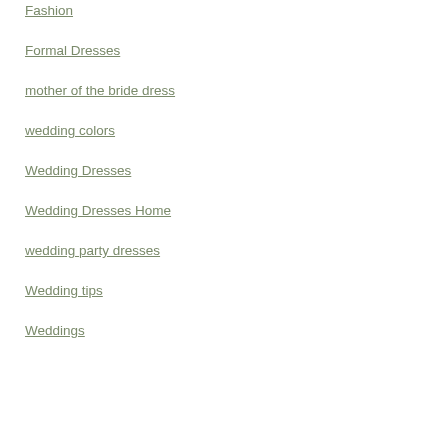Fashion
Formal Dresses
mother of the bride dress
wedding colors
Wedding Dresses
Wedding Dresses Home
wedding party dresses
Wedding tips
Weddings
ARCHIVES
June 2020
June 2016
April 2016
March 2016
February 2016
January 2016